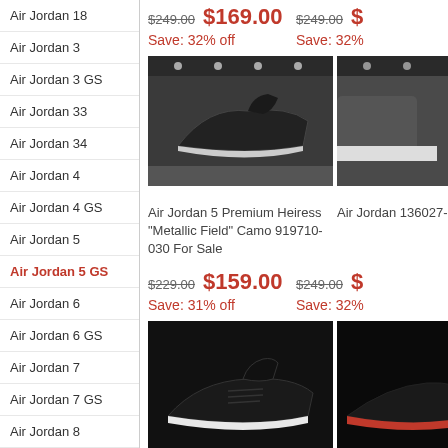Air Jordan 18
Air Jordan 3
Air Jordan 3 GS
Air Jordan 33
Air Jordan 34
Air Jordan 4
Air Jordan 4 GS
Air Jordan 5
Air Jordan 5 GS
Air Jordan 6
Air Jordan 6 GS
Air Jordan 7
Air Jordan 7 GS
Air Jordan 8
Air Jordan 8 GS
Air Jordan 9
$249.00 $169.00 Save: 32% off
[Figure (photo): Dark sneaker shoe on shelf display]
$249.00 $ Save: 32%
[Figure (photo): Sneaker partially visible on right]
Air Jordan 5 Premium Heiress "Metallic Field" Camo 919710-030 For Sale
Air Jordan 136027-13... Shoes
$229.00 $159.00 Save: 31% off
$249.00 $ Save: 32%
[Figure (photo): Black Air Jordan 5 sneaker with white sole on dark background]
[Figure (photo): Dark sneaker partially visible on right]